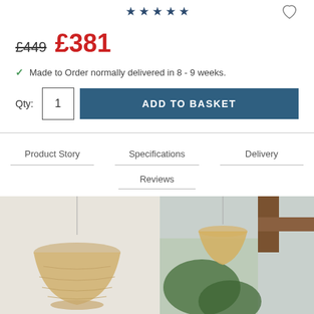[Figure (other): Five dark blue star rating icons centered at top, with a heart/wishlist icon top right]
£449 £381
Made to Order normally delivered in 8 - 9 weeks.
Qty: 1  ADD TO BASKET
Product Story   Specifications   Delivery   Reviews
[Figure (photo): Photo of two woven rattan/bamboo pendant lamps hanging in a room with wooden ceiling beams and outdoor greenery visible through windows]